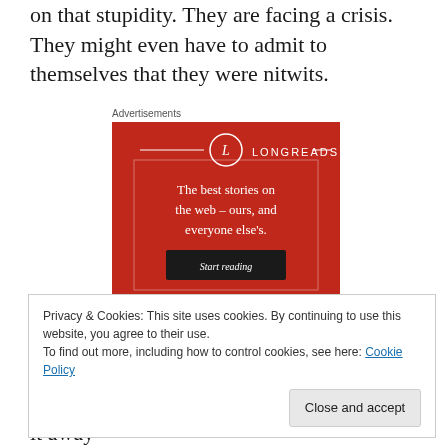on that stupidity. They are facing a crisis. They might even have to admit to themselves that they were nitwits.
Advertisements
[Figure (illustration): Longreads advertisement on red background with logo circle, tagline 'The best stories on the web – ours, and everyone else's.' and a black 'Start reading' button]
Privacy & Cookies: This site uses cookies. By continuing to use this website, you agree to their use.
To find out more, including how to control cookies, see here: Cookie Policy
it away